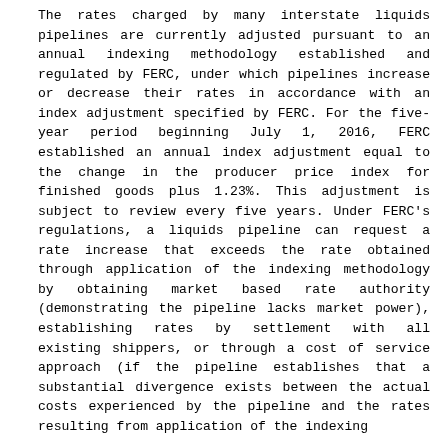The rates charged by many interstate liquids pipelines are currently adjusted pursuant to an annual indexing methodology established and regulated by FERC, under which pipelines increase or decrease their rates in accordance with an index adjustment specified by FERC. For the five-year period beginning July 1, 2016, FERC established an annual index adjustment equal to the change in the producer price index for finished goods plus 1.23%. This adjustment is subject to review every five years. Under FERC's regulations, a liquids pipeline can request a rate increase that exceeds the rate obtained through application of the indexing methodology by obtaining market based rate authority (demonstrating the pipeline lacks market power), establishing rates by settlement with all existing shippers, or through a cost of service approach (if the pipeline establishes that a substantial divergence exists between the actual costs experienced by the pipeline and the rates resulting from application of the indexing methodology to such liquids pipeline rates.